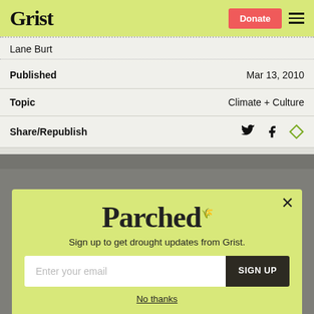Grist | Donate
Lane Burt
| Field | Value |
| --- | --- |
| Published | Mar 13, 2010 |
| Topic | Climate + Culture |
| Share/Republish | Twitter Facebook Republish |
[Figure (screenshot): Parched newsletter signup popup with email input and SIGN UP button on a lime-green background]
Sign up to get drought updates from Grist.
No thanks